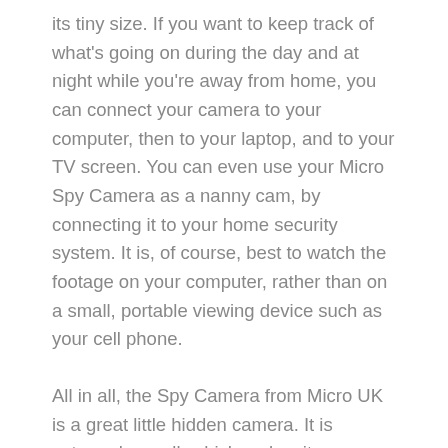its tiny size. If you want to keep track of what's going on during the day and at night while you're away from home, you can connect your camera to your computer, then to your laptop, and to your TV screen. You can even use your Micro Spy Camera as a nanny cam, by connecting it to your home security system. It is, of course, best to watch the footage on your computer, rather than on a small, portable viewing device such as your cell phone.
All in all, the Spy Camera from Micro UK is a great little hidden camera. It is extremely small, which makes it super easy to conceal and record. The recording can be shown on your screen to anyone who happens to pass by your home. It is, in fact, a very handy tool to have. And if you ever feel the need for it, there are apps that make the recording super easy to upload to your personal computer, or to an external hard drive, such as your digital camera's SD